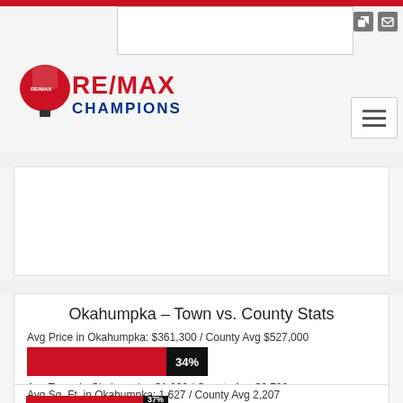[Figure (logo): RE/MAX Champions logo with hot air balloon icon, red RE/MAX text and blue CHAMPIONS text]
Okahumpka - Town vs. County Stats
Avg Price in Okahumpka: $361,300 / County Avg $527,000
[Figure (bar-chart): Avg Price comparison]
Avg Taxes in Okahumpka: $1,200 / County Avg $2,700
[Figure (bar-chart): Avg Taxes comparison]
Avg Sq. Ft. in Okahumpka: 1,627 / County Avg 2,207
[Figure (bar-chart): Avg Sq Ft comparison]